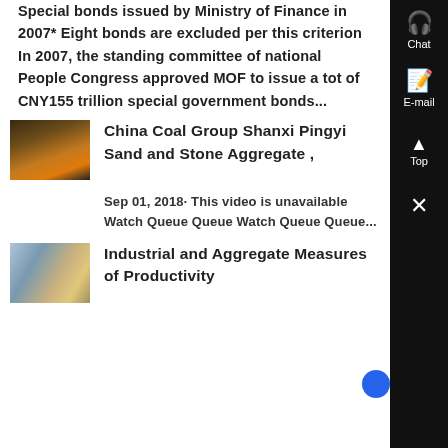Special bonds issued by Ministry of Finance in 2007* Eight bonds are excluded per this criterion In 2007, the standing committee of national People Congress approved MOF to issue a tot of CNY155 trillion special government bonds...
[Figure (photo): Thumbnail image of coal processing facility with orange flames/glow]
China Coal Group Shanxi Pingyi Sand and Stone Aggregate ,
Sep 01, 2018· This video is unavailable Watch Queue Queue Watch Queue Queue...
[Figure (photo): Thumbnail image of industrial aggregate conveyor/processing equipment]
Industrial and Aggregate Measures of Productivity